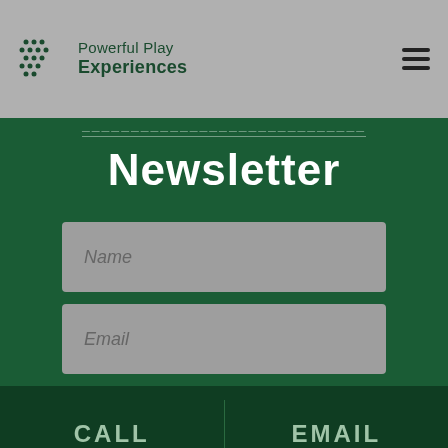Powerful Play Experiences
Newsletter
Name
Email
Submit
CALL
EMAIL